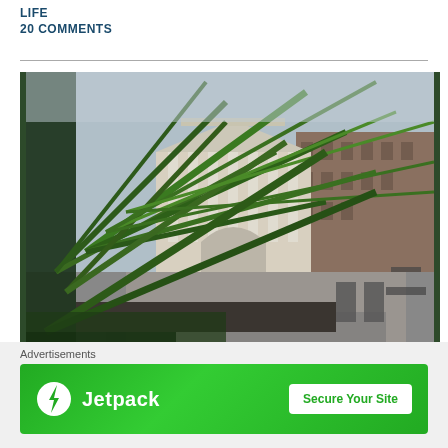LIFE
20 COMMENTS
[Figure (photo): Outdoor urban garden/terrace area with palm trees and tropical plants in foreground, classical Greek-revival building with columns visible in background through an arch, chairs and tables on wet paving stones, overcast day]
Advertisements
[Figure (logo): Jetpack advertisement banner with green background, Jetpack logo on the left and 'Secure Your Site' button on the right]